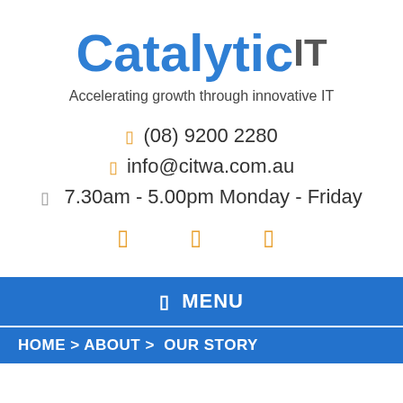[Figure (logo): Catalytic IT logo — 'Catalytic' in bold blue, 'IT' in bold gray as superscript]
Accelerating growth through innovative IT
☎ (08) 9200 2280
✉ info@citwa.com.au
⏱  7.30am - 5.00pm Monday - Friday
□ □ □
☰ MENU
HOME > ABOUT >  OUR STORY